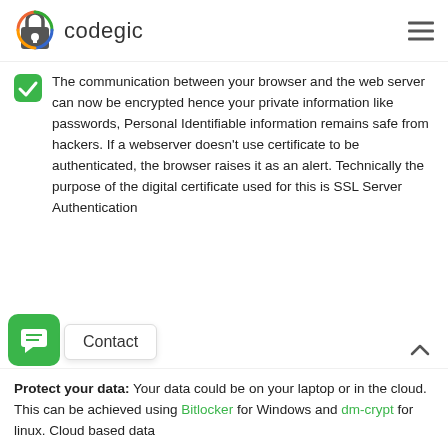codegic
The communication between your browser and the web server can now be encrypted hence your private information like passwords, Personal Identifiable information remains safe from hackers. If a webserver doesn't use certificate to be authenticated, the browser raises it as an alert. Technically the purpose of the digital certificate used for this is SSL Server Authentication
Protect your data: Your data could be on your laptop or in the cloud. This can be achieved using Bitlocker for Windows and dm-crypt for linux. Cloud based data